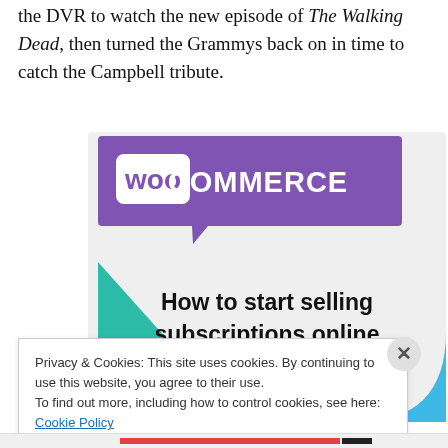the DVR to watch the new episode of The Walking Dead, then turned the Grammys back on in time to catch the Campbell tribute.
[Figure (illustration): WooCommerce promotional image with purple speech-bubble logo containing 'woo COMMERCE' text, teal triangle shape on left, blue arc shape on bottom right, light gray background, bold text reading 'How to start selling subscriptions online']
Privacy & Cookies: This site uses cookies. By continuing to use this website, you agree to their use.
To find out more, including how to control cookies, see here: Cookie Policy